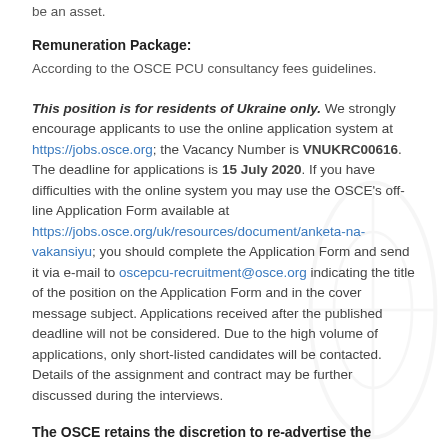be an asset.
Remuneration Package:
According to the OSCE PCU consultancy fees guidelines.
This position is for residents of Ukraine only. We strongly encourage applicants to use the online application system at https://jobs.osce.org; the Vacancy Number is VNUKRC00616. The deadline for applications is 15 July 2020. If you have difficulties with the online system you may use the OSCE's off-line Application Form available at https://jobs.osce.org/uk/resources/document/anketa-na-vakansiyu; you should complete the Application Form and send it via e-mail to oscepcu-recruitment@osce.org indicating the title of the position on the Application Form and in the cover message subject. Applications received after the published deadline will not be considered. Due to the high volume of applications, only short-listed candidates will be contacted. Details of the assignment and contract may be further discussed during the interviews.
The OSCE retains the discretion to re-advertise the